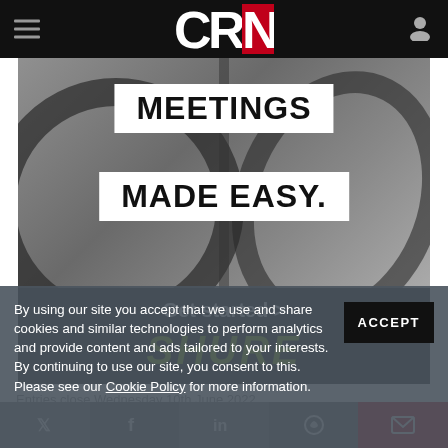CRN
[Figure (illustration): Shure advertisement banner: grey background with microphone/audio equipment, white boxes with black bold text reading 'MEETINGS MADE EASY.' and below a black bar with 'Get started >' in white and 'SHURE' in green bold italic letters]
By using our site you accept that we use and share cookies and similar technologies to perform analytics and provide content and ads tailored to your interests. By continuing to use our site, you consent to this. Please see our Cookie Policy for more information.